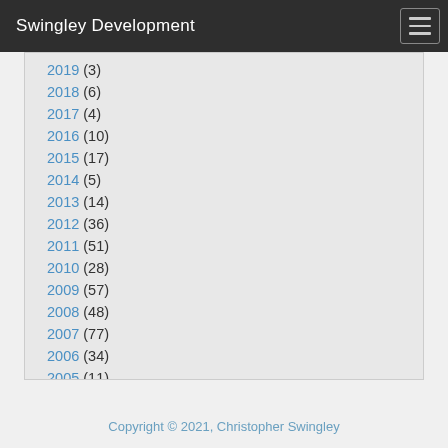Swingley Development
2019 (3)
2018 (6)
2017 (4)
2016 (10)
2015 (17)
2014 (5)
2013 (14)
2012 (36)
2011 (51)
2010 (28)
2009 (57)
2008 (48)
2007 (77)
2006 (34)
2005 (11)
Copyright © 2021, Christopher Swingley